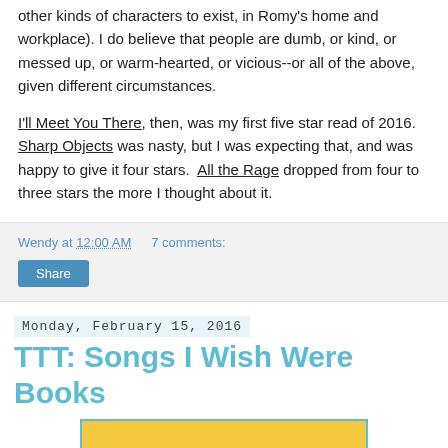other kinds of characters to exist, in Romy's home and workplace).  I do believe that people are dumb, or kind, or messed up, or warm-hearted, or vicious--or all of the above, given different circumstances.
I'll Meet You There, then, was my first five star read of 2016.  Sharp Objects was nasty, but I was expecting that, and was happy to give it four stars.  All the Rage dropped from four to three stars the more I thought about it.
Wendy at 12:00 AM    7 comments:
Share
Monday, February 15, 2016
TTT: Songs I Wish Were Books
[Figure (illustration): Yellow and white graphic with text 'Top Ten' in white serif font, bordered by a teal/cyan rectangle border.]